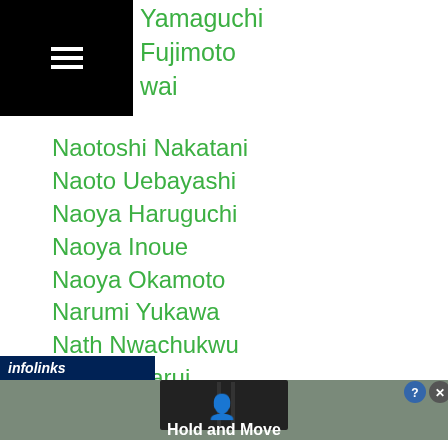Yamaguchi
Fujimoto
wai
Naotoshi Nakatani
Naoto Uebayashi
Naoya Haruguchi
Naoya Inoue
Naoya Okamoto
Narumi Yukawa
Nath Nwachukwu
Natsuki Tarui
Nattapong Jankaew
Nawaphon Por Chokchai
Nazim Ishanova
Neeraj Goyat
Neil John Tabanao
[Figure (screenshot): Advertisement banner showing 'Hold and Move' app/game with winter trees background and navigation UI elements. Infolinks bar visible with close and help buttons.]